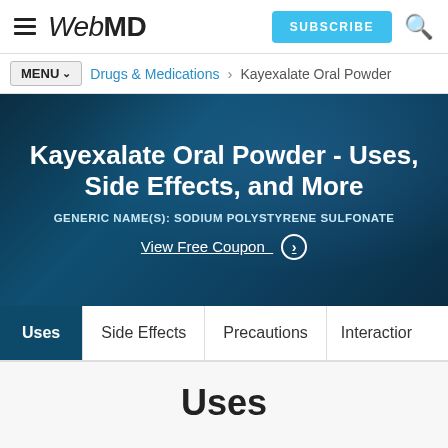WebMD — SUBSCRIBE
MENU∨  Drugs & Medications > Kayexalate Oral Powder
Kayexalate Oral Powder - Uses, Side Effects, and More
GENERIC NAME(S): SODIUM POLYSTYRENE SULFONATE
View Free Coupon >
Uses
Side Effects
Precautions
Interactions
Uses